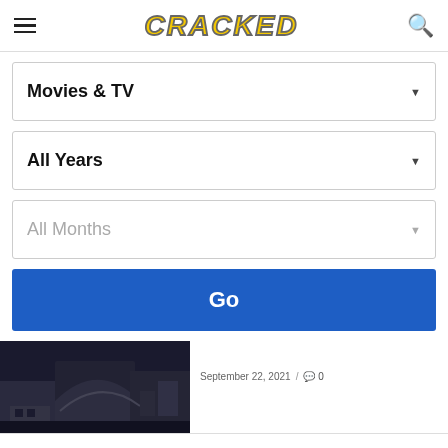CRACKED
Movies & TV
All Years
All Months
Go
September 22, 2021 / 0
[Figure (photo): Dark urban architectural photo showing futuristic metallic building structures at night]